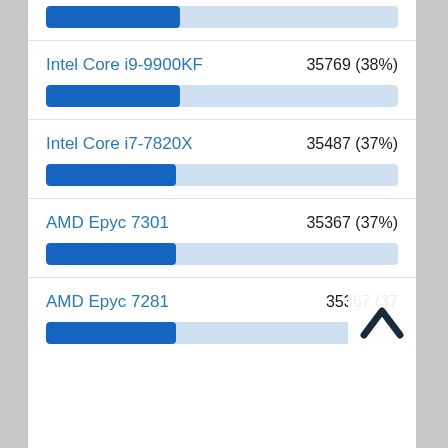[Figure (bar-chart): CPU Benchmark Scores]